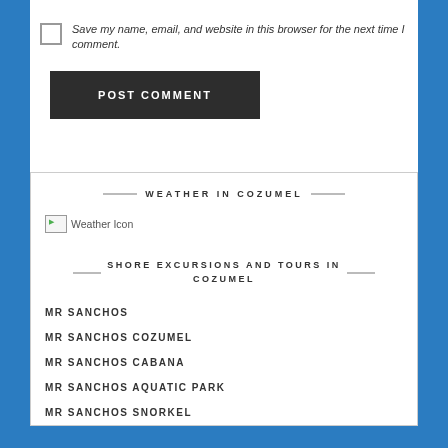Save my name, email, and website in this browser for the next time I comment.
POST COMMENT
WEATHER IN COZUMEL
[Figure (other): Weather Icon - broken image placeholder]
SHORE EXCURSIONS AND TOURS IN COZUMEL
MR SANCHOS
MR SANCHOS COZUMEL
MR SANCHOS CABANA
MR SANCHOS AQUATIC PARK
MR SANCHOS SNORKEL